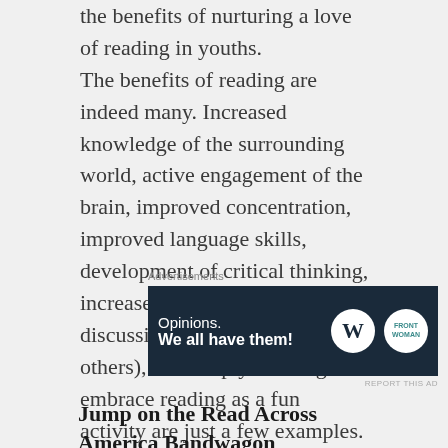the benefits of nurturing a love of reading in youths. The benefits of reading are indeed many. Increased knowledge of the surrounding world, active engagement of the brain, improved concentration, improved language skills, development of critical thinking, increased socialization (by discussing a reading topic with others), and simply learning to embrace reading as a fun activity are just a few examples.
[Figure (other): Advertisement banner with dark navy background. Text reads 'Opinions. We all have them!' with WordPress logo and a circular brand logo on the right.]
Jump on the Read Across America Bandwagon